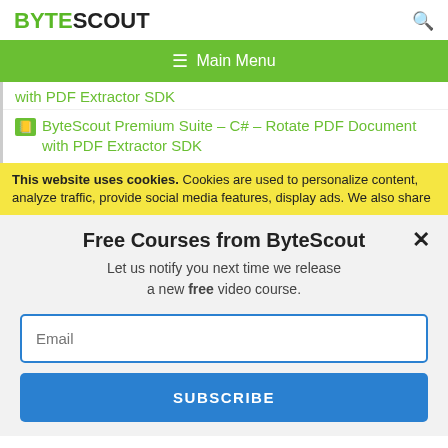BYTESCOUT
≡  Main Menu
with PDF Extractor SDK
ByteScout Premium Suite – C# – Rotate PDF Document with PDF Extractor SDK
This website uses cookies. Cookies are used to personalize content, analyze traffic, provide social media features, display ads. We also share
Free Courses from ByteScout
Let us notify you next time we release a new free video course.
Email
SUBSCRIBE